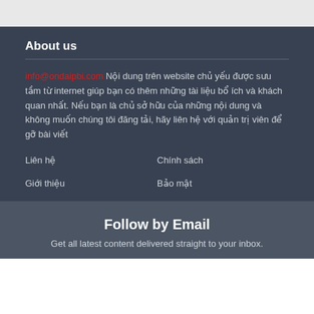About us
info@ondaipbi.com Nội dung trên website chủ yếu được sưu tầm từ internet giúp bạn có thêm những tài liệu bổ ích và khách quan nhất. Nếu bạn là chủ sở hữu của những nội dung và không muốn chúng tôi đăng tải, hãy liên hệ với quản trị viên để gỡ bài viết
Liên hệ
Chính sách
Giới thiệu
Bảo mật
Follow by Email
Get all latest content delivered straight to your inbox.